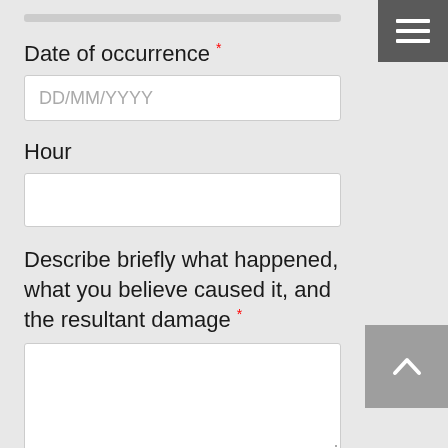Date of occurrence *
DD/MM/YYYY
Hour
Describe briefly what happened, what you believe caused it, and the resultant damage *
Image Upload